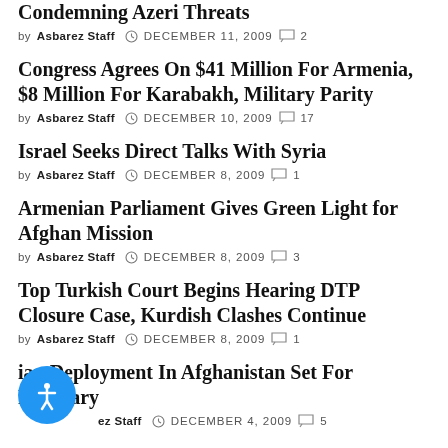Condemning Azeri Threats
by Asbarez Staff  DECEMBER 11, 2009  2
Congress Agrees On $41 Million For Armenia, $8 Million For Karabakh, Military Parity
by Asbarez Staff  DECEMBER 10, 2009  17
Israel Seeks Direct Talks With Syria
by Asbarez Staff  DECEMBER 8, 2009  1
Armenian Parliament Gives Green Light for Afghan Mission
by Asbarez Staff  DECEMBER 8, 2009  3
Top Turkish Court Begins Hearing DTP Closure Case, Kurdish Clashes Continue
by Asbarez Staff  DECEMBER 8, 2009  1
ian Deployment In Afghanistan Set For February
by Asbarez Staff  DECEMBER 4, 2009  5